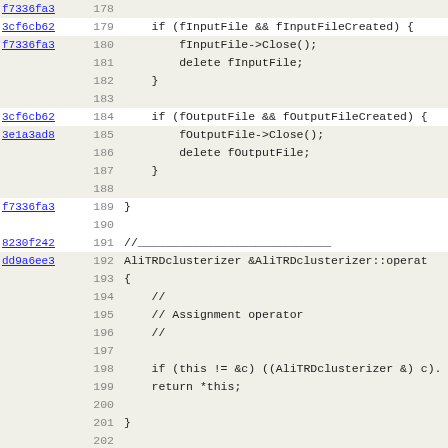[Figure (screenshot): Source code viewer showing C++ code lines 178-210 with commit hashes on the left, line numbers, and code content. Code shows destructor and copy/assignment operator implementations for AliTRDclusterizer class.]